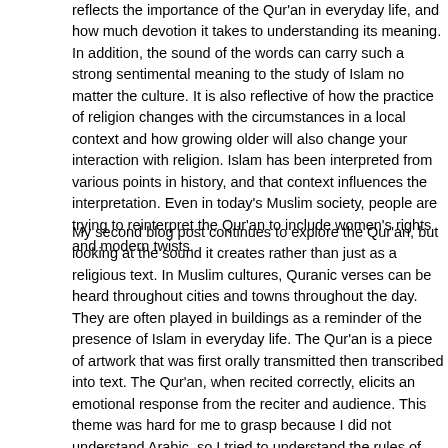reflects the importance of the Qur'an in everyday life, and how much devotion it takes to understanding its meaning. In addition, the sound of the words can carry such a strong sentimental meaning to the study of Islam no matter the culture. It is also reflective of how the practice of religion changes with the circumstances in a local context and how growing older will also change your interaction with religion. Islam has been interpreted from various points in history, and that context influences the interpretation. Even in today's Muslim society, people are trying to reinterpret the Qur'an to include women's rights and modern twists.
My second blog post continues to explore the Qur'an, but looking at the sound it creates rather than just as a religious text. In Muslim cultures, Quranic verses can be heard throughout cities and towns throughout the day. They are often played in buildings as a reminder of the presence of Islam in everyday life. The Qur'an is a piece of artwork that was first orally transmitted then transcribed into text. The Qur'an, when recited correctly, elicits an emotional response from the reciter and audience. This theme was hard for me to grasp because I did not understand Arabic, so I tried to understand the rules of recitation in the way kids could try to. I created cartoon drawings of suggested rules to follow while reciting the Qur'an, so that kids can also easily follow them. This cartoon drawing is also in a sense poking fun of the fact that I couldn't really comprehend the idea of an oral religion, or the spirituality achieved through hearing and reading the words in a particular manner. However, I hope that after viewing my blog post, viewers would have a better sense on how to build the foundation to incorporate the importance of even a basic...